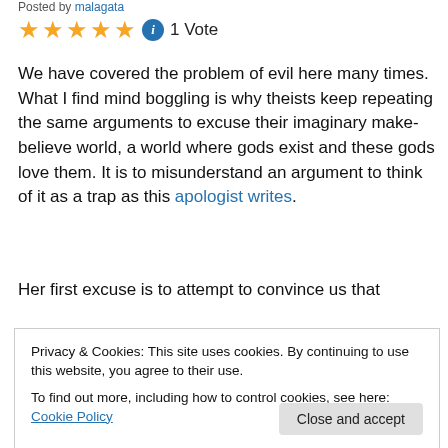Posted by malagata
[Figure (other): 5 gold star rating icons followed by a blue info icon and '1 Vote' text]
We have covered the problem of evil here many times. What I find mind boggling is why theists keep repeating the same arguments to excuse their imaginary make-believe world, a world where gods exist and these gods love them. It is to misunderstand an argument to think of it as a trap as this apologist writes.
Her first excuse is to attempt to convince us that
Privacy & Cookies: This site uses cookies. By continuing to use this website, you agree to their use.
To find out more, including how to control cookies, see here: Cookie Policy
case. In the case of the surgeon, we all know they don't